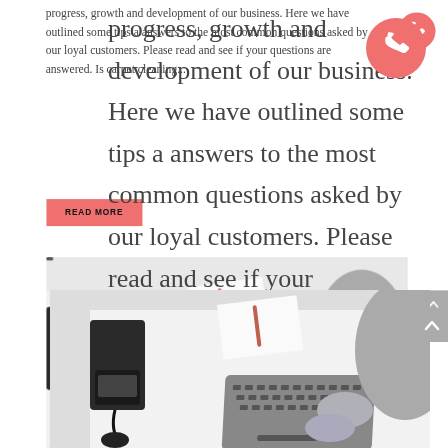progress, growth and development of our business. Here we have outlined some tips and answers to the most common questions asked by our loyal customers. Please read and see if your questions are answered. Is carpet cleaning...
READ MORE
[Figure (photo): Overhead view of a person typing on a laptop at a white desk, with a notepad and pen nearby, and an office phone device to the left.]